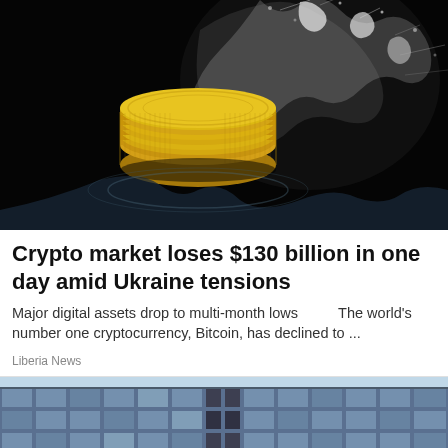[Figure (photo): Dark background photo of gold coins being dropped into water creating a splash of liquid, shot against a black background.]
Crypto market loses $130 billion in one day amid Ukraine tensions
Major digital assets drop to multi-month lows        The world's number one cryptocurrency, Bitcoin, has declined to ...
Liberia News
[Figure (photo): Partial view of a modern glass office building facade with a grid pattern of blue-grey windows against a light sky.]